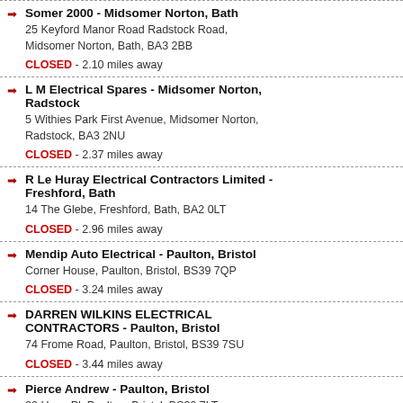Somer 2000 - Midsomer Norton, Bath
25 Keyford Manor Road Radstock Road, Midsomer Norton, Bath, BA3 2BB
CLOSED - 2.10 miles away
L M Electrical Spares - Midsomer Norton, Radstock
5 Withies Park First Avenue, Midsomer Norton, Radstock, BA3 2NU
CLOSED - 2.37 miles away
R Le Huray Electrical Contractors Limited - Freshford, Bath
14 The Glebe, Freshford, Bath, BA2 0LT
CLOSED - 2.96 miles away
Mendip Auto Electrical - Paulton, Bristol
Corner House, Paulton, Bristol, BS39 7QP
CLOSED - 3.24 miles away
DARREN WILKINS ELECTRICAL CONTRACTORS - Paulton, Bristol
74 Frome Road, Paulton, Bristol, BS39 7SU
CLOSED - 3.44 miles away
Pierce Andrew - Paulton, Bristol
20 Hope Pl, Paulton, Bristol, BS39 7LT
CLOSED - 3.52 miles away